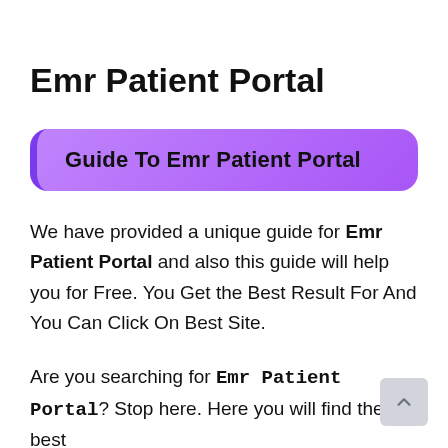Emr Patient Portal
Guide To Emr Patient Portal
We have provided a unique guide for Emr Patient Portal and also this guide will help you for Free. You Get the Best Result For And You Can Click On Best Site.
Are you searching for Emr Patient Portal? Stop here. Here you will find the best